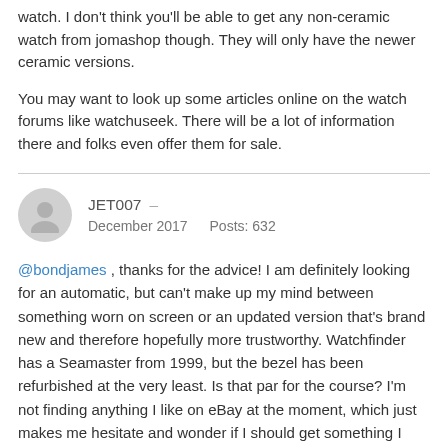watch. I don't think you'll be able to get any non-ceramic watch from jomashop though. They will only have the newer ceramic versions.
You may want to look up some articles online on the watch forums like watchuseek. There will be a lot of information there and folks even offer them for sale.
JET007 – December 2017 Posts: 632
@bondjames , thanks for the advice! I am definitely looking for an automatic, but can't make up my mind between something worn on screen or an updated version that's brand new and therefore hopefully more trustworthy. Watchfinder has a Seamaster from 1999, but the bezel has been refurbished at the very least. Is that par for the course? I'm not finding anything I like on eBay at the moment, which just makes me hesitate and wonder if I should get something I know for sure is under Omega's actual warranty. Watchfinder does offer a